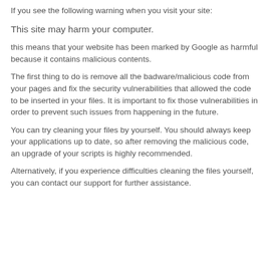If you see the following warning when you visit your site:
This site may harm your computer.
this means that your website has been marked by Google as harmful because it contains malicious contents.
The first thing to do is remove all the badware/malicious code from your pages and fix the security vulnerabilities that allowed the code to be inserted in your files. It is important to fix those vulnerabilities in order to prevent such issues from happening in the future.
You can try cleaning your files by yourself. You should always keep your applications up to date, so after removing the malicious code, an upgrade of your scripts is highly recommended.
Alternatively, if you experience difficulties cleaning the files yourself, you can contact our support for further assistance.